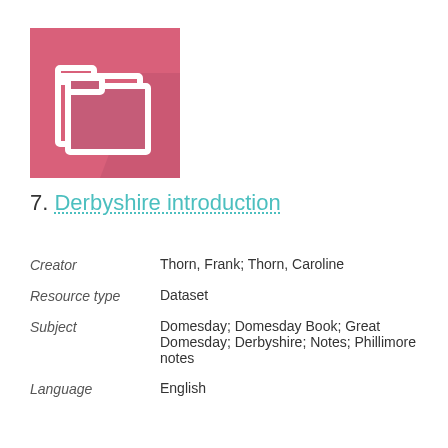[Figure (illustration): Pink square icon with white folder/document symbol representing a dataset]
7. Derbyshire introduction
Creator    Thorn, Frank; Thorn, Caroline
Resource type    Dataset
Subject    Domesday; Domesday Book; Great Domesday; Derbyshire; Notes; Phillimore notes
Language    English